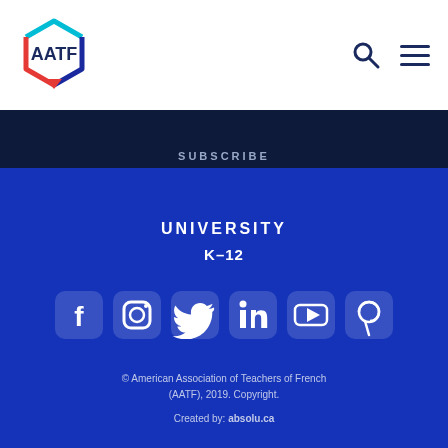[Figure (logo): AATF hexagon logo with cyan, blue, and red outline]
SUBSCRIBE
UNIVERSITY
K-12
[Figure (infographic): Social media icons: Facebook, Instagram, Twitter, LinkedIn, YouTube, Pinterest]
© American Association of Teachers of French (AATF), 2019. Copyright.
Created by: absolu.ca